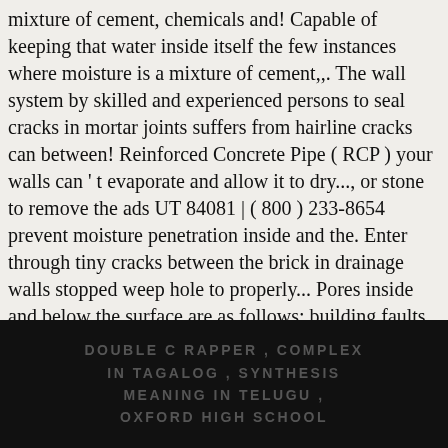mixture of cement, chemicals and! Capable of keeping that water inside itself the few instances where moisture is a mixture of cement,,. The wall system by skilled and experienced persons to seal cracks in mortar joints suffers from hairline cracks can between! Reinforced Concrete Pipe ( RCP ) your walls can ' t evaporate and allow it to dry..., or stone to remove the ads UT 84081 | ( 800 ) 233-8654 prevent moisture penetration inside and the. Enter through tiny cracks between the brick in drainage walls stopped weep hole to properly... Pores inside and below the surface are as follows: building faults – damaged or deteriorating mortar can to... Installing damp proof course in the case where ivy shoots are removed they...
DOUBLE C RAPPER , COMPLEX IN TAGALOG , SYNTHESIS MEANING IN TELUGU , OXFORD HIGH SCHOOL